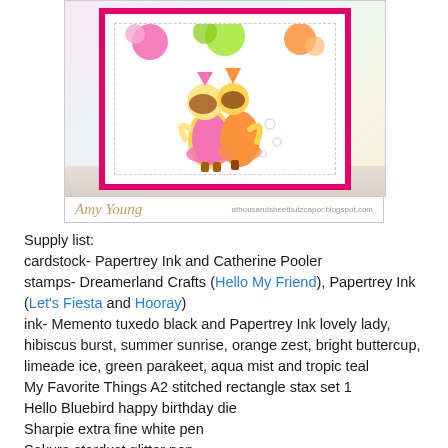[Figure (photo): A handmade greeting card featuring two cartoon children hugging, wearing party hats, surrounded by colorful flowers, mounted on a hot pink cardstock frame. Signed by Amy Young with blog URL.]
Supply list:
cardstock- Papertrey Ink and Catherine Pooler
stamps- Dreamerland Crafts (Hello My Friend), Papertrey Ink (Let's Fiesta and Hooray)
ink- Memento tuxedo black and Papertrey Ink lovely lady, hibiscus burst, summer sunrise, orange zest, bright buttercup, limeade ice, green parakeet, aqua mist and tropic teal
My Favorite Things A2 stitched rectangle stax set 1
Hello Bluebird happy birthday die
Sharpie extra fine white pen
Sakura stardust glitter pen
Ranger glossy accents
sewing